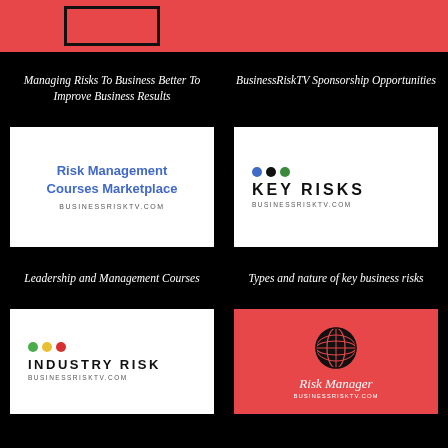[Figure (logo): Red background with dark bordered rectangle logo (partial, cropped)]
[Figure (logo): Red background partial image for BusinessRiskTV Sponsorship Opportunities]
Managing Risks To Business Better To Improve Business Results
BusinessRiskTV Sponsorship Opportunities
[Figure (logo): Risk Management Courses Marketplace logo on white background, BUSINESSRISKTV.COM]
[Figure (logo): Key Risks logo with blue, black, green dots on white background, BUSINESSRISKTV.COM]
Leadership and Management Courses
Types and nature of key business risks
[Figure (logo): Industry Risk logo with green, yellow, red dots on white background, BUSINESSRISKTV.COM]
[Figure (logo): Risk Manager logo with globe icon on red background, BUSINESSRISKTV.COM]